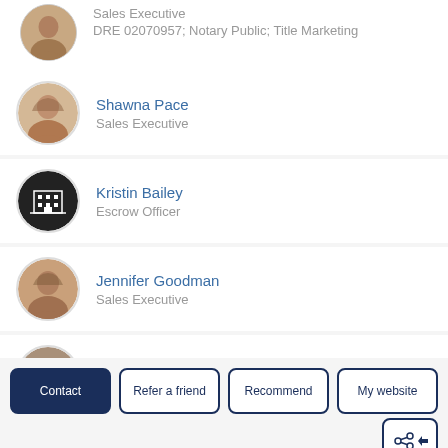Sales Executive
DRE 02070957; Notary Public; Title Marketing
Shawna Pace
Sales Executive
Kristin Bailey
Escrow Officer
Jennifer Goodman
Sales Executive
Erica Gibson
Escrow Officer
Janell Willis
Sales Executive
Contact | Refer a friend | Recommend | My website